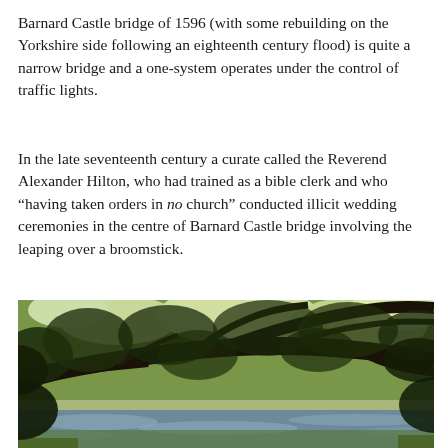Barnard Castle bridge of 1596 (with some rebuilding on the Yorkshire side following an eighteenth century flood) is quite a narrow bridge and a one-system operates under the control of traffic lights.
In the late seventeenth century a curate called the Reverend Alexander Hilton, who had trained as a bible clerk and who “having taken orders in no church” conducted illicit wedding ceremonies in the centre of Barnard Castle bridge involving the leaping over a broomstick.
[Figure (photo): Outdoor photograph showing a river scene with large overhanging tree branches and dense green foliage in the foreground, with a river or calm water body visible in the lower portion of the image.]